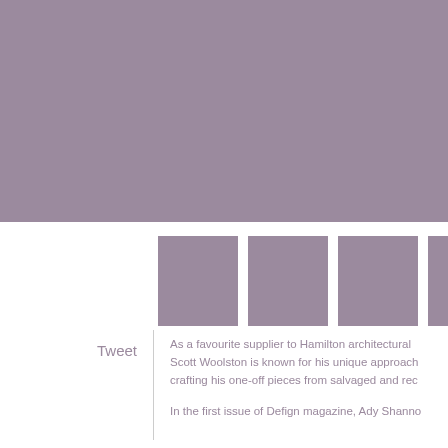[Figure (photo): Large muted purple/mauve rectangular image placeholder occupying the top portion of the page]
[Figure (photo): Row of four thumbnail image placeholders in muted purple/mauve color, partially cut off on the right]
Tweet
As a favourite supplier to Hamilton architectural Scott Woolston is known for his unique approach crafting his one-off pieces from salvaged and rec
In the first issue of Defign magazine, Ady Shanno